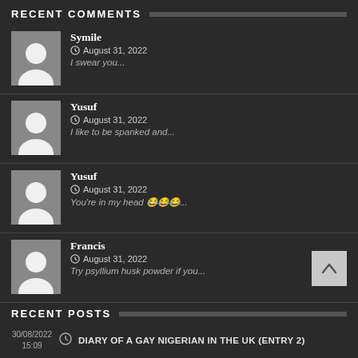RECENT COMMENTS
Symile — August 31, 2022 — I swear you...
Yusuf — August 31, 2022 — I like to be spanked and...
Yusuf — August 31, 2022 — You're in my head 😂😂😂...
Francis — August 31, 2022 — Try psyllium husk powder if you...
RECENT POSTS
30/08/2022 15:09 — DIARY OF A GAY NIGERIAN IN THE UK (Entry 2)